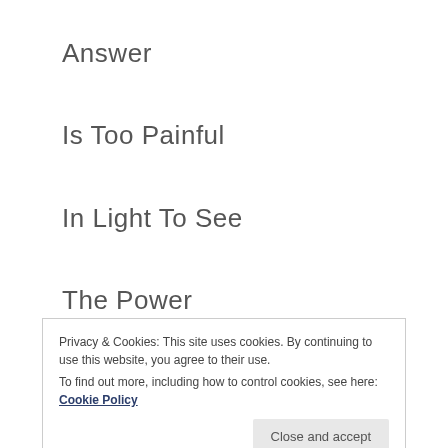Answer
Is Too Painful
In Light To See
The Power
Of
Tradition
Privacy & Cookies: This site uses cookies. By continuing to use this website, you agree to their use.
To find out more, including how to control cookies, see here: Cookie Policy
Close and accept